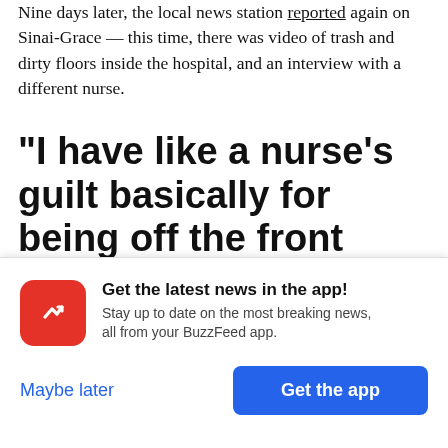Nine days later, the local news station reported again on Sinai-Grace — this time, there was video of trash and dirty floors inside the hospital, and an interview with a different nurse.
"I have like a nurse's guilt basically for being off the front lines."
The next day, March 27, Barkai was called into her
Get the latest news in the app! Stay up to date on the most breaking news, all from your BuzzFeed app.
Maybe later
Get the app